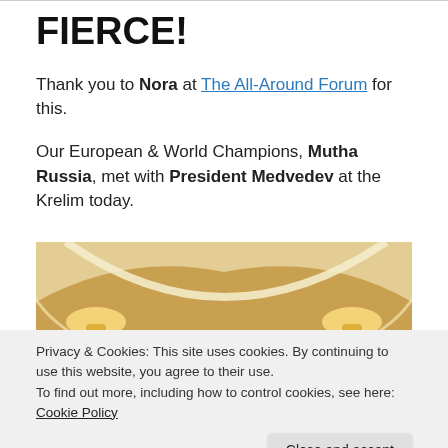FIERCE!
Thank you to Nora at The All-Around Forum for this.
Our European & World Champions, Mutha Russia, met with President Medvedev at the Krelim today.
[Figure (photo): Group photo of Russian gymnastics team with President Medvedev on a grand staircase with chandeliers and draped fabric at the Kremlin.]
Privacy & Cookies: This site uses cookies. By continuing to use this website, you agree to their use.
To find out more, including how to control cookies, see here: Cookie Policy
Close and accept